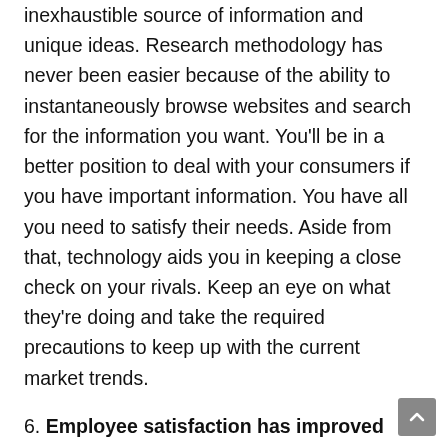inexhaustible source of information and unique ideas. Research methodology has never been easier because of the ability to instantaneously browse websites and search for the information you want. You'll be in a better position to deal with your consumers if you have important information. You have all you need to satisfy their needs. Aside from that, technology aids you in keeping a close check on your rivals. Keep an eye on what they're doing and take the required precautions to keep up with the current market trends.
6. Employee satisfaction has improved
Professionals are well-known for being